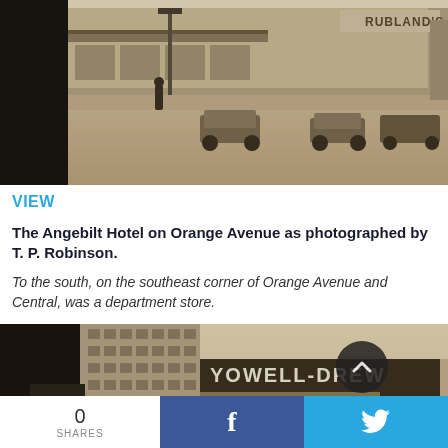[Figure (photo): Sepia-toned historical photograph of a street scene showing storefronts including a sign reading 'RUBLAND'S', with cars parked along the street, circa mid-20th century.]
VIEW
The Angebilt Hotel on Orange Avenue as photographed by T. P. Robinson.
To the south, on the southeast corner of Orange Avenue and Central, was a department store.
[Figure (photo): Sepia-toned historical photograph of the Yowell-Drew Co. building, a large multi-story structure with a sign reading 'YOWELL-DREW Co. One of Florida's Good Stores', alongside a tall hotel building.]
0 SHARES  f  (twitter bird icon)